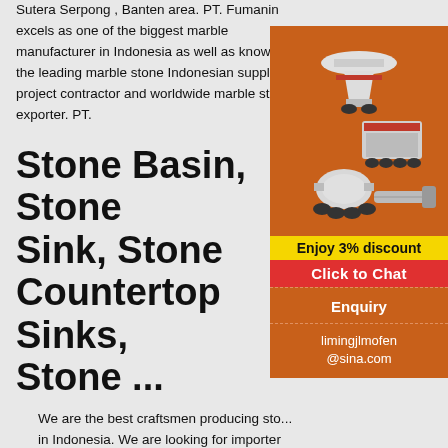Sutera Serpong , Banten area. PT. Fumanin excels as one of the biggest marble manufacturer in Indonesia as well as known as the leading marble stone Indonesian supplier, project contractor and worldwide marble stone exporter. PT.
Stone Basin, Stone Sink, Stone Countertop Sinks, Stone ...
We are the best craftsmen producing sto... in Indonesia. We are looking for importer Ston... Countertop Basins, Stone Countertop Sinks, S... Vessel Sinks, Stone
[Figure (advertisement): Orange background ad sidebar showing industrial stone crushing/mining machines (cone crusher, jaw crusher, ball mill), yellow discount bar reading 'Enjoy 3% discount', red 'Click to Chat' bar, dashed divider, Enquiry section, and email limingjlmofen@sina.com]
Contact | YardseRocks